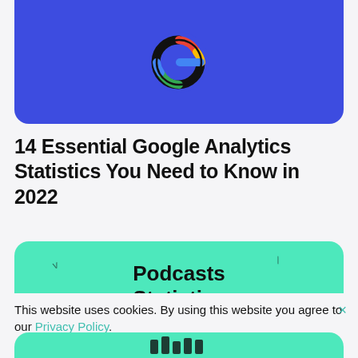[Figure (logo): Google logo (colorful G) on a blue rounded rectangle banner]
14 Essential Google Analytics Statistics You Need to Know in 2022
[Figure (illustration): Teal/mint rounded rectangle banner with bold text reading 'Podcasts Statistics' with a decorative underline and small decorative marks]
This website uses cookies. By using this website you agree to our Privacy Policy.
[Figure (illustration): Partial teal banner at bottom with icon shapes visible]